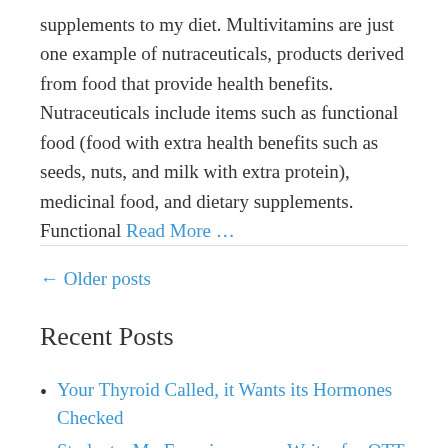supplements to my diet. Multivitamins are just one example of nutraceuticals, products derived from food that provide health benefits. Nutraceuticals include items such as functional food (food with extra health benefits such as seeds, nuts, and milk with extra protein), medicinal food, and dietary supplements. Functional Read More …
← Older posts
Recent Posts
Your Thyroid Called, it Wants its Hormones Checked
Students: My Experience as a Writer for OTT
The Origins of Braille
What does that Venture Capital Term Mean? –